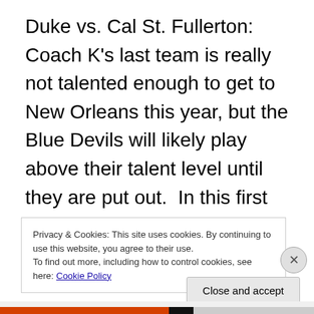Duke vs. Cal St. Fullerton:  Coach K's last team is really not talented enough to get to New Orleans this year, but the Blue Devils will likely play above their talent level until they are put out.  In this first game, the Blue Devils will score points rapidly against a weak team defense.  Fullerton won't be able to keep the Blue Devil offense from getting easy shots
Privacy & Cookies: This site uses cookies. By continuing to use this website, you agree to their use. To find out more, including how to control cookies, see here: Cookie Policy